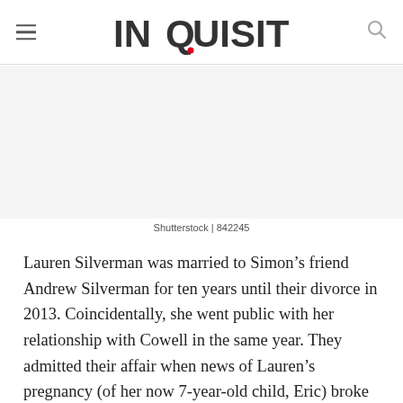INQUISITR
[Figure (photo): Image placeholder area (Shutterstock photo)]
Shutterstock | 842245
Lauren Silverman was married to Simon’s friend Andrew Silverman for ten years until their divorce in 2013. Coincidentally, she went public with her relationship with Cowell in the same year. They admitted their affair when news of Lauren’s pregnancy (of her now 7-year-old child, Eric) broke